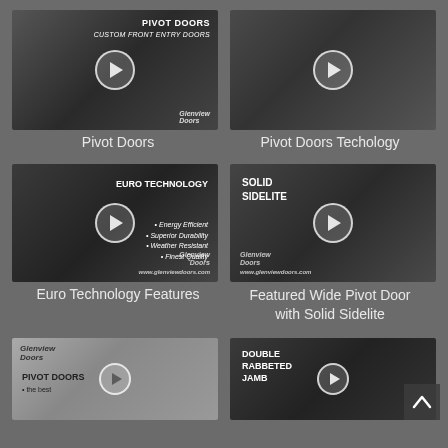[Figure (screenshot): Video thumbnail showing pivot door interior with play button overlay. Text: PIVOT DOORS. Glenview Doors logo.]
[Figure (screenshot): Video thumbnail showing man standing at modern pivot door exterior with play button overlay.]
Pivot Doors
Pivot Doors Techology
[Figure (screenshot): Video thumbnail showing man presenting EURO TECHNOLOGY features with play button overlay. Bullet points: Energy Efficient, Superior Durability, Weather Resistant, Finest Quality. Glenview Doors logo.]
[Figure (screenshot): Video thumbnail showing man presenting SOLID SIDELITE door with play button overlay. Glenview Doors logo.]
Euro Technology Features
Featured Wide Pivot Door with Solid Sidelite
[Figure (screenshot): Partial video thumbnail showing Glenview Doors logo and PIVOT DOORS text with play button overlay.]
[Figure (screenshot): Partial video thumbnail showing DOUBLE RABBETED JAMB text and man with play button overlay.]